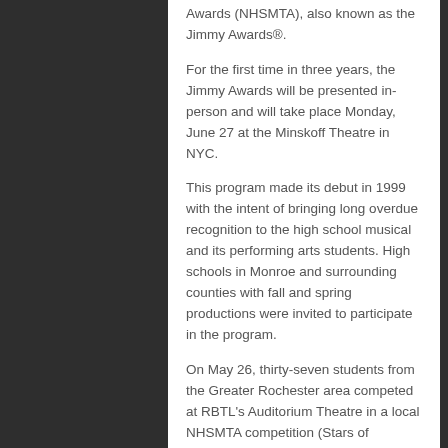Awards (NHSMTA), also known as the Jimmy Awards®.
For the first time in three years, the Jimmy Awards will be presented in-person and will take place Monday, June 27 at the Minskoff Theatre in NYC.
This program made its debut in 1999 with the intent of bringing long overdue recognition to the high school musical and its performing arts students. High schools in Monroe and surrounding counties with fall and spring productions were invited to participate in the program.
On May 26, thirty-seven students from the Greater Rochester area competed at RBTL’s Auditorium Theatre in a local NHSMTA competition (Stars of Tomorrow